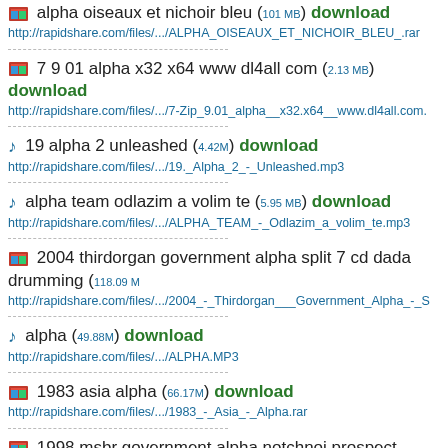alpha oiseaux et nichoir bleu (101 MB) download
http://rapidshare.com/files/.../ALPHA_OISEAUX_ET_NICHOIR_BLEU_.rar
7 9 01 alpha x32 x64 www dl4all com (2.13 MB) download
http://rapidshare.com/files/.../7-Zip_9.01_alpha__x32.x64__www.dl4all.com.
19 alpha 2 unleashed (4.42M) download
http://rapidshare.com/files/.../19._Alpha_2_-_Unleashed.mp3
alpha team odlazim a volim te (5.95 MB) download
http://rapidshare.com/files/.../ALPHA_TEAM_-_Odlazim_a_volim_te.mp3
2004 thirdorgan government alpha split 7 cd dada drumming (118.09 ...)
http://rapidshare.com/files/.../2004_-_Thirdorgan___Government_Alpha_-_S
alpha (49.88M) download
http://rapidshare.com/files/.../ALPHA.MP3
1983 asia alpha (66.17M) download
http://rapidshare.com/files/.../1983_-_Asia_-_Alpha.rar
1998 msbr government alpha notchnoi prospect japanoise action in
http://rapidshare.com/files/.../1998_-_MSBR___Government_Alpha_-_Notc